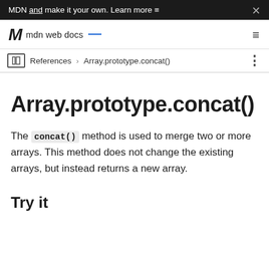MDN and make it your own. Learn more
mdn web docs
References > Array.prototype.concat()
Array.prototype.concat()
The concat() method is used to merge two or more arrays. This method does not change the existing arrays, but instead returns a new array.
Try it